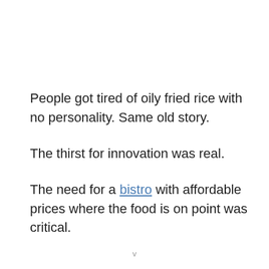People got tired of oily fried rice with no personality. Same old story.
The thirst for innovation was real.
The need for a bistro with affordable prices where the food is on point was critical.